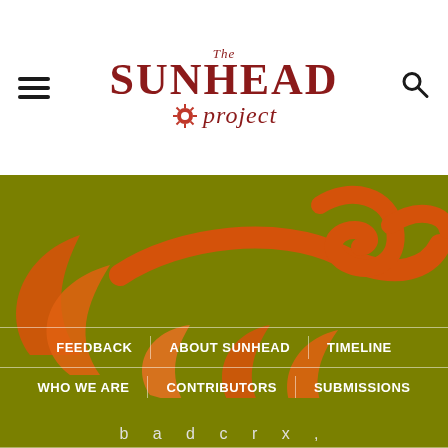[Figure (logo): The Sunhead Project logo with hamburger menu icon on left and search icon on right, on white background]
[Figure (illustration): Olive/yellow-green background with orange abstract sun/plant decorative shapes forming the Sunhead Project visual motif]
FEEDBACK   ABOUT SUNHEAD   TIMELINE   WHO WE ARE   CONTRIBUTORS   SUBMISSIONS   TERMS & CONDITIONS
b a d c r x ,